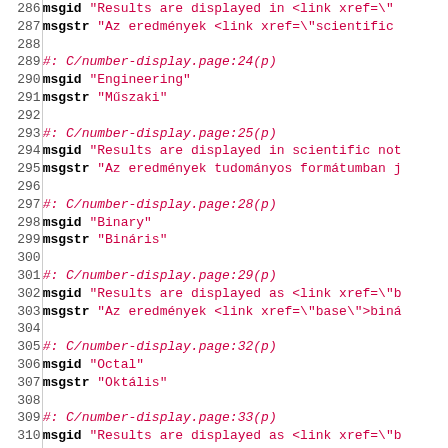Code listing lines 286-315 showing gettext PO file entries for Hungarian localization of number-display page strings
286 msgid "Results are displayed in <link xref=\"
287 msgstr "Az eredmények <link xref=\"scientific
288
289 #: C/number-display.page:24(p)
290 msgid "Engineering"
291 msgstr "Műszaki"
292
293 #: C/number-display.page:25(p)
294 msgid "Results are displayed in scientific not
295 msgstr "Az eredmények tudományos formátumban j
296
297 #: C/number-display.page:28(p)
298 msgid "Binary"
299 msgstr "Bináris"
300
301 #: C/number-display.page:29(p)
302 msgid "Results are displayed as <link xref=\"b
303 msgstr "Az eredmények <link xref=\"base\">biná
304
305 #: C/number-display.page:32(p)
306 msgid "Octal"
307 msgstr "Oktális"
308
309 #: C/number-display.page:33(p)
310 msgid "Results are displayed as <link xref=\"b
311 msgstr "Az eredmények <link xref=\"base\">okta
312
313 #: C/number-display.page:36(p)
314 msgid "Hexadecimal"
315 msgstr "Hexadecimális"